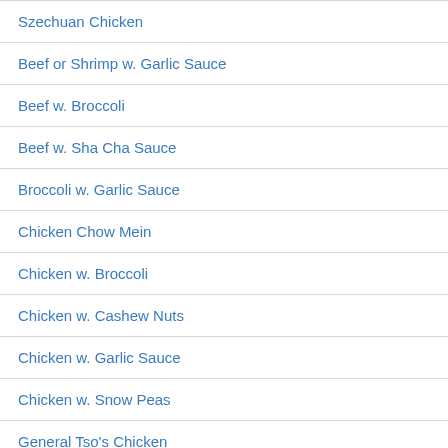Szechuan Chicken
Beef or Shrimp w. Garlic Sauce
Beef w. Broccoli
Beef w. Sha Cha Sauce
Broccoli w. Garlic Sauce
Chicken Chow Mein
Chicken w. Broccoli
Chicken w. Cashew Nuts
Chicken w. Garlic Sauce
Chicken w. Snow Peas
General Tso's Chicken